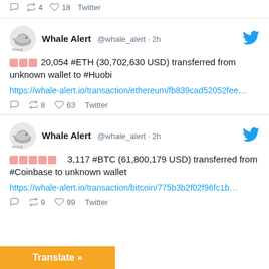Twitter actions: reply, retweet 4, like 18, Twitter
Whale Alert @whale_alert · 2h — 20,054 #ETH (30,702,630 USD) transferred from unknown wallet to #Huobi
https://whale-alert.io/transaction/ethereum/fb839cad52052fee…
reply, retweet 8, like 63, Twitter
Whale Alert @whale_alert · 2h — 3,117 #BTC (61,800,179 USD) transferred from #Coinbase to unknown wallet
https://whale-alert.io/transaction/bitcoin/775b3b2f02f96fc1b…
reply, retweet 9, like 99, Twitter
Translate »